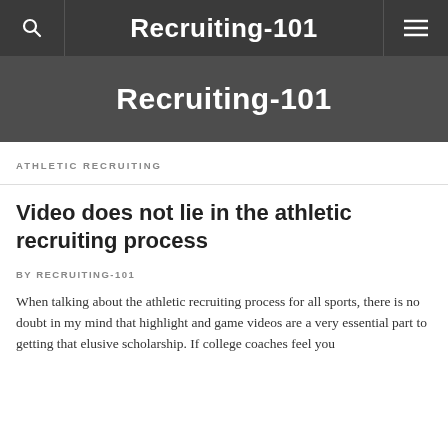Recruiting-101
ATHLETIC RECRUITING
Video does not lie in the athletic recruiting process
BY RECRUITING-101
When talking about the athletic recruiting process for all sports, there is no doubt in my mind that highlight and game videos are a very essential part to getting that elusive scholarship. If college coaches feel you